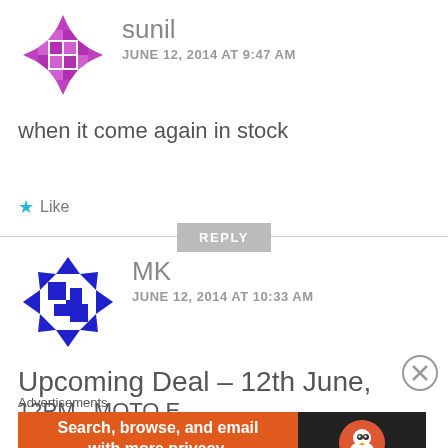[Figure (illustration): Purple geometric snowflake/pinwheel avatar for user sunil]
sunil
JUNE 12, 2014 AT 9:47 AM
when it come again in stock
★ Like
REPLY
[Figure (illustration): Blue geometric checkerboard circle avatar for user MK]
MK
JUNE 12, 2014 AT 10:33 AM
Upcoming Deal – 12th June,
12PM   MOTO E
Advertisements
[Figure (screenshot): DuckDuckGo advertisement banner: Search, browse, and email with more privacy. All in One Free App]